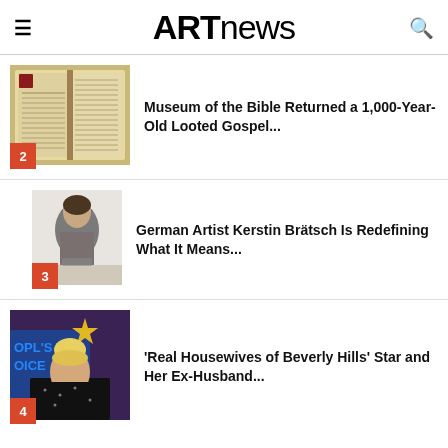ARTnews
[Figure (photo): Open ancient manuscript with columns of handwritten text, illuminated manuscript style]
Museum of the Bible Returned a 1,000-Year-Old Looted Gospel...
[Figure (photo): Woman artist in grey turtleneck working at a table with art supplies]
German Artist Kerstin Brätsch Is Redefining What It Means...
[Figure (photo): Blonde woman in black at People's Choice awards event]
'Real Housewives of Beverly Hills' Star and Her Ex-Husband...